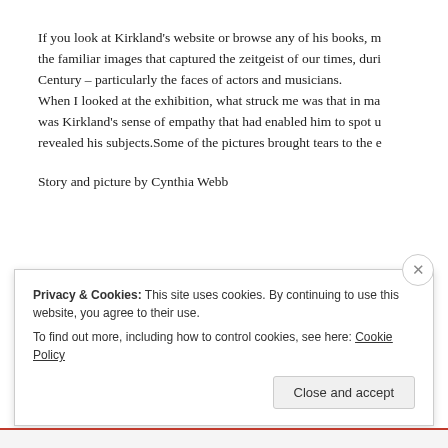If you look at Kirkland's website or browse any of his books, m the familiar images that captured the zeitgeist of our times, duri Century – particularly the faces of actors and musicians. When I looked at the exhibition, what struck me was that in ma was Kirkland's sense of empathy that had enabled him to spot u revealed his subjects.Some of the pictures brought tears to the e
Story and picture by Cynthia Webb
Privacy & Cookies: This site uses cookies. By continuing to use this website, you agree to their use.
To find out more, including how to control cookies, see here: Cookie Policy